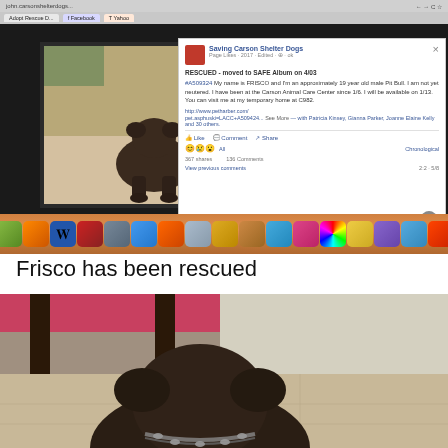[Figure (screenshot): Screenshot of a Mac desktop showing a Facebook post about a rescued dog named Frisco (a Pit Bull). The post is from 'Saving Carson Shelter Dogs' page. The left side shows a dark-background photo viewer with a dog photo, and the right side shows the Facebook panel with text about FRISCO being rescued and moved to SAFE Album on 4/03. The Mac dock is visible at the bottom of the screenshot.]
Frisco has been rescued
[Figure (photo): Photo of a dog (Frisco, a dark-colored Pit Bull) inside a home, viewed from above/behind. The dog is wearing a chain collar. There is a pink/magenta table visible in the background and tile flooring.]